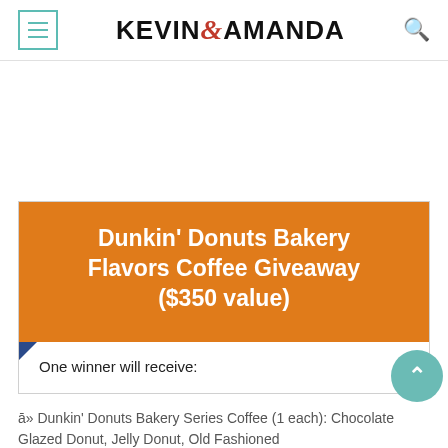KEVIN & AMANDA
Dunkin' Donuts Bakery Flavors Coffee Giveaway ($350 value)
One winner will receive:
➔ Dunkin' Donuts Bakery Series Coffee (1 each): Chocolate Glazed Donut, Jelly Donut, Old Fashioned